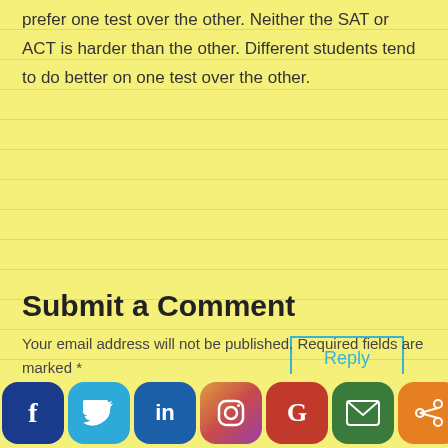prefer one test over the other. Neither the SAT or ACT is harder than the other. Different students tend to do better on one test over the other.
Reply
Submit a Comment
Your email address will not be published. Required fields are marked *
Comment *
[Figure (other): Social media share buttons bar: Facebook, Twitter, LinkedIn, Instagram, Google, Email, Share]